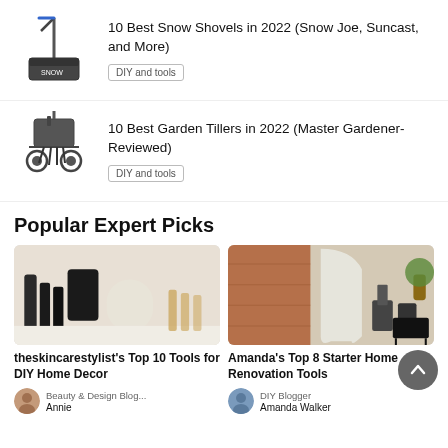10 Best Snow Shovels in 2022 (Snow Joe, Suncast, and More) — DIY and tools
10 Best Garden Tillers in 2022 (Master Gardener-Reviewed) — DIY and tools
Popular Expert Picks
[Figure (photo): Photo of skincare and candle products on a white surface for theskincarestylist's Top 10 Tools for DIY Home Decor]
theskincarestylist's Top 10 Tools for DIY Home Decor
Beauty & Design Blog...
Annie
[Figure (photo): Photo of an outdoor patio with chairs and a black side table for Amanda's Top 8 Starter Home Renovation Tools]
Amanda's Top 8 Starter Home Renovation Tools
DIY Blogger
Amanda Walker